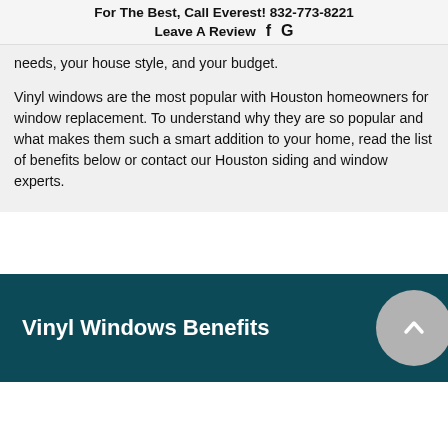For The Best, Call Everest! 832-773-8221
Leave A Review  f  G
needs, your house style, and your budget.
Vinyl windows are the most popular with Houston homeowners for window replacement. To understand why they are so popular and what makes them such a smart addition to your home, read the list of benefits below or contact our Houston siding and window experts.
Vinyl Windows Benefits